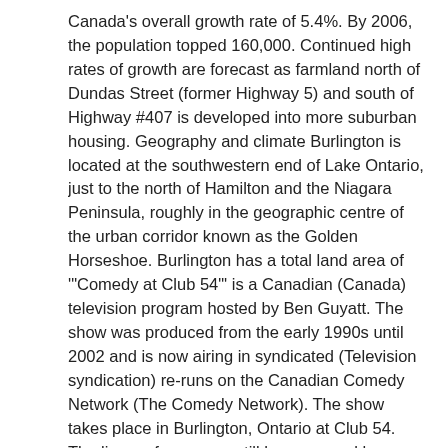Canada's overall growth rate of 5.4%. By 2006, the population topped 160,000. Continued high rates of growth are forecast as farmland north of Dundas Street (former Highway 5) and south of Highway #407 is developed into more suburban housing. Geography and climate Burlington is located at the southwestern end of Lake Ontario, just to the north of Hamilton and the Niagara Peninsula, roughly in the geographic centre of the urban corridor known as the Golden Horseshoe. Burlington has a total land area of '"Comedy at Club 54"' is a Canadian (Canada) television program hosted by Ben Guyatt. The show was produced from the early 1990s until 2002 and is now airing in syndicated (Television syndication) re-runs on the Canadian Comedy Network (The Comedy Network). The show takes place in Burlington, Ontario at Club 54. The live performances still happen weekly, although new episodes of the Comedy at Club 54 TV show have not been aired since 2002. Former U.S. President Bill Clinton and former Canadian Liberal leadership candidate visit Ontario city Tuesday, former U.S. President Bill Clinton (w:Bill Clinton) and Former Canadian Liberal leadership candidate and former Ontario Premier Bob Rae (w:Bob Rae) visited Hamilton, Ontario (w:Hamilton, Ontario) to speak. The fundraiser for Burlington, Ontario (w:Burlington, Ontario)